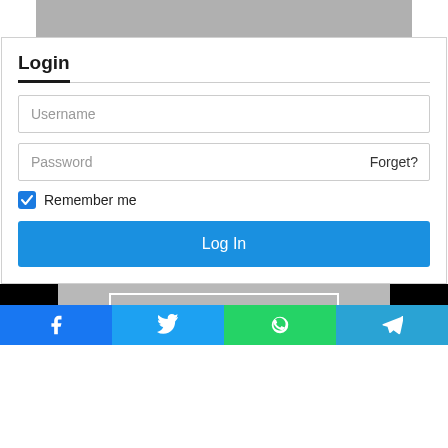[Figure (screenshot): Gray banner image at top of page]
Login
Username
Password
Forget?
Remember me
Log In
[Figure (photo): Partial image showing a gray surface with a white-bordered rectangle, black sides, and social share bar at bottom with Facebook, Twitter, WhatsApp, and Telegram icons]